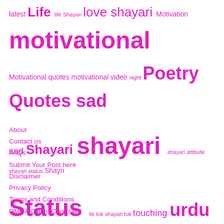latest Life life Shayan love shayari Motivation motivational Motivational quotes motivational video night Poetry Quotes sad sad Shayari shayari shayari attitude shayari status Shayri Status tik tok shayari tok touching urdu urdu quotes video whatsapp whatsapp status ॥ जहाँ शायरी
About
Contact us
FAQs
Submit Your Post here
Disclaimer
Privacy Policy
Terms and Conditions
DMCA Claim /Complaint